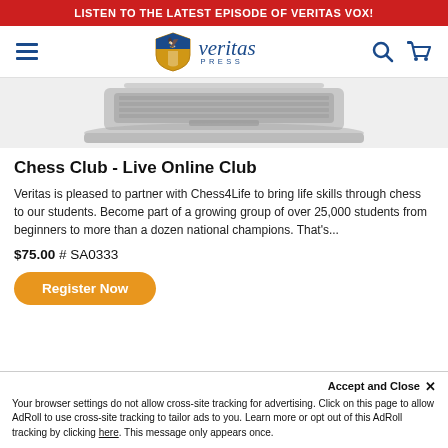LISTEN TO THE LATEST EPISODE OF VERITAS VOX!
[Figure (logo): Veritas Press logo with shield and eagle, navy blue text reading 'veritas' in italic with 'PRESS' below]
[Figure (photo): Laptop computer shown from above with keyboard visible, silver/gray color]
Chess Club - Live Online Club
Veritas is pleased to partner with Chess4Life to bring life skills through chess to our students. Become part of a growing group of over 25,000 students from beginners to more than a dozen national champions. That's...
$75.00  # SA0333
Register Now
Accept and Close ×
Your browser settings do not allow cross-site tracking for advertising. Click on this page to allow AdRoll to use cross-site tracking to tailor ads to you. Learn more or opt out of this AdRoll tracking by clicking here. This message only appears once.